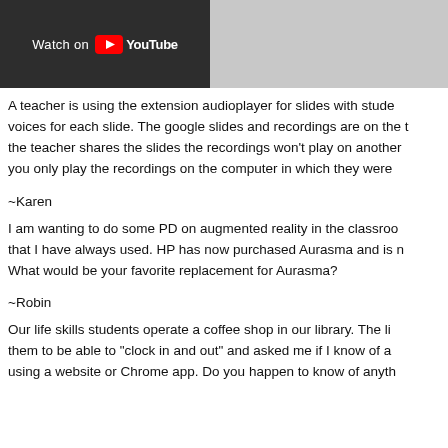[Figure (screenshot): YouTube 'Watch on YouTube' dark banner button with YouTube logo]
A teacher is using the extension audioplayer for slides with students voices for each slide. The google slides and recordings are on the the teacher shares the slides the recordings won't play on another you only play the recordings on the computer in which they were
~Karen
I am wanting to do some PD on augmented reality in the classroom that I have always used. HP has now purchased Aurasma and is n What would be your favorite replacement for Aurasma?
~Robin
Our life skills students operate a coffee shop in our library. The li them to be able to "clock in and out" and asked me if I know of a using a website or Chrome app. Do you happen to know of anyth